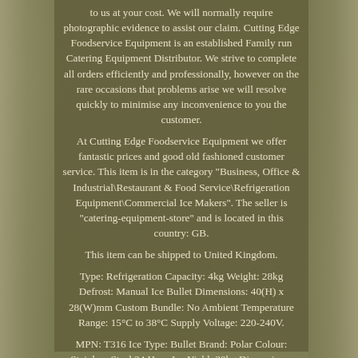to us at your cost. We will normally require photographic evidence to assist our claim. Cutting Edge Foodservice Equipment is an established Family run Catering Equipment Distributor. We strive to complete all orders efficiently and professionally, however on the rare occasions that problems arise we will resolve quickly to minimise any inconvenience to you the customer.
At Cutting Edge Foodservice Equipment we offer fantastic prices and good old fashioned customer service. This item is in the category "Business, Office & Industrial\Restaurant & Food Service\Refrigeration Equipment\Commercial Ice Makers". The seller is "catering-equipment-store" and is located in this country: GB.
This item can be shipped to United Kingdom.
Type: Refrigeration Capacity: 4kg Weight: 28kg Defrost: Manual Ice Bullet Dimensions: 40(H) x 28(W)mm Custom Bundle: No Ambient Temperature Range: 15°C to 38°C Supply Voltage: 220-240V.
MPN: T316 Ice Type: Bullet Brand: Polar Colour: Stainless Steel 24 Hour Ice Yield: 20kg Dimensions: 590(H) x 380(W) x 477(D)mm EAN: 5050984049989 Sub-Type: Ice Makers Item Type: Ice makers